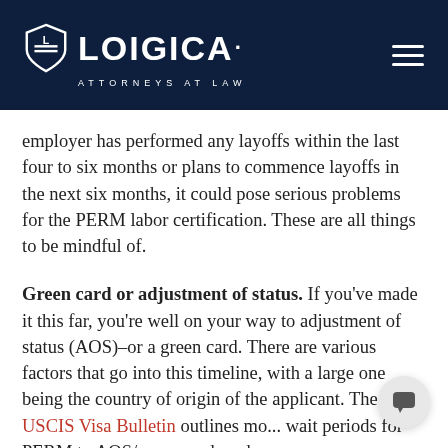LOIGICA. ATTORNEYS AT LAW
employer has performed any layoffs within the last four to six months or plans to commence layoffs in the next six months, it could pose serious problems for the PERM labor certification. These are all things to be mindful of.
Green card or adjustment of status. If you've made it this far, you're well on your way to adjustment of status (AOS)–or a green card. There are various factors that go into this timeline, with a large one being the country of origin of the applicant. The USCIS Visa Bulletin outlines mo... wait periods for PERM to AOS/green card, and